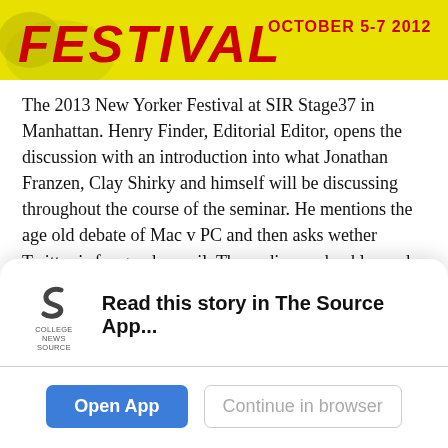[Figure (illustration): Yellow banner with red festival text and date, decorative illustration]
The 2013 New Yorker Festival at SIR Stage37 in Manhattan. Henry Finder, Editorial Editor, opens the discussion with an introduction into what Jonathan Franzen, Clay Shirky and himself will be discussing throughout the course of the seminar. He mentions the age old debate of Mac v PC and then asks wether Twitter is for good or evil. The audience chuckles and it's time to begin.
“All consumption is the consumption of advertising” the first discussion is about Apple and how they have advertised the Mac and how an entire industry has been revolutionised by a simple manufacturing technique that Steve Jobs knew was imperative for
[Figure (logo): College News Source logo with stylized S icon]
Read this story in The Source App...
Open App
Continue in browser